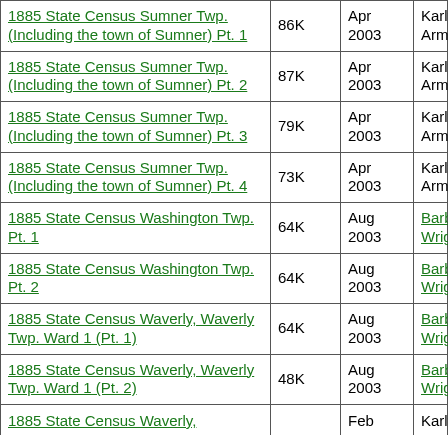| Title | Size | Date | Contributor |
| --- | --- | --- | --- |
| 1885 State Census Sumner Twp. (Including the town of Sumner) Pt. 1 | 86K | Apr 2003 | Karlyn Armstrong |
| 1885 State Census Sumner Twp. (Including the town of Sumner) Pt. 2 | 87K | Apr 2003 | Karlyn Armstrong |
| 1885 State Census Sumner Twp. (Including the town of Sumner) Pt. 3 | 79K | Apr 2003 | Karlyn Armstrong |
| 1885 State Census Sumner Twp. (Including the town of Sumner) Pt. 4 | 73K | Apr 2003 | Karlyn Armstrong |
| 1885 State Census Washington Twp. Pt. 1 | 64K | Aug 2003 | Barb Wright |
| 1885 State Census Washington Twp. Pt. 2 | 64K | Aug 2003 | Barb Wright |
| 1885 State Census Waverly, Waverly Twp. Ward 1 (Pt. 1) | 64K | Aug 2003 | Barb Wright |
| 1885 State Census Waverly, Waverly Twp. Ward 1 (Pt. 2) | 48K | Aug 2003 | Barb Wright |
| 1885 State Census Waverly, | 100K | Feb | Karlyn |